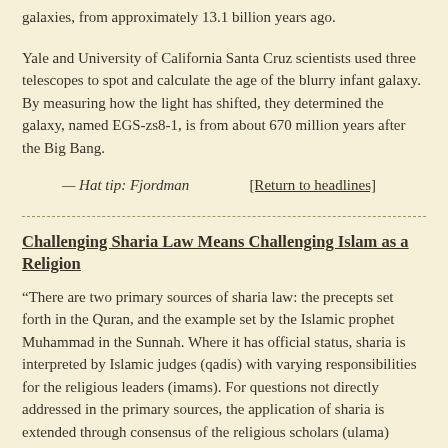galaxies, from approximately 13.1 billion years ago.
Yale and University of California Santa Cruz scientists used three telescopes to spot and calculate the age of the blurry infant galaxy. By measuring how the light has shifted, they determined the galaxy, named EGS-zs8-1, is from about 670 million years after the Big Bang.
— Hat tip: Fjordman     [Return to headlines]
Challenging Sharia Law Means Challenging Islam as a Religion
“There are two primary sources of sharia law: the precepts set forth in the Quran, and the example set by the Islamic prophet Muhammad in the Sunnah. Where it has official status, sharia is interpreted by Islamic judges (qadis) with varying responsibilities for the religious leaders (imams). For questions not directly addressed in the primary sources, the application of sharia is extended through consensus of the religious scholars (ulama) thought to embody the consensus of the Muslim Community (ijima). Islamic jurisprudence will also